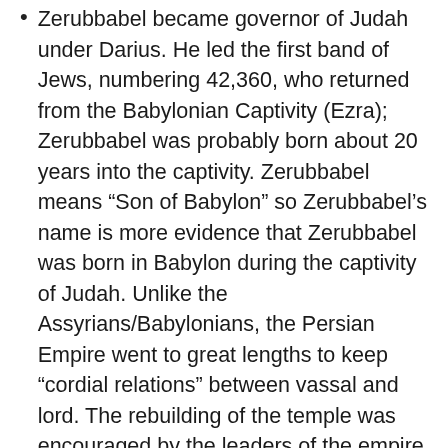Zerubbabel became governor of Judah under Darius. He led the first band of Jews, numbering 42,360, who returned from the Babylonian Captivity (Ezra); Zerubbabel was probably born about 20 years into the captivity. Zerubbabel means “Son of Babylon” so Zerubbabel’s name is more evidence that Zerubbabel was born in Babylon during the captivity of Judah. Unlike the Assyrians/Babylonians, the Persian Empire went to great lengths to keep “cordial relations” between vassal and lord. The rebuilding of the temple was encouraged by the leaders of the empire in hopes that it would